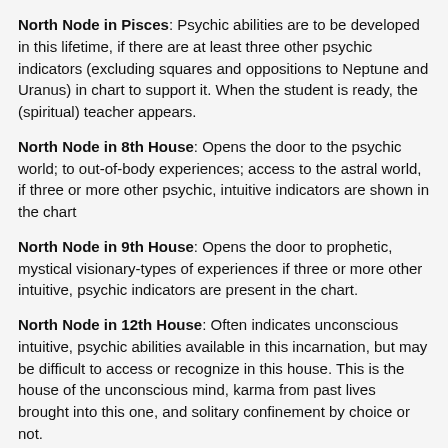North Node in Pisces: Psychic abilities are to be developed in this lifetime, if there are at least three other psychic indicators (excluding squares and oppositions to Neptune and Uranus) in chart to support it. When the student is ready, the (spiritual) teacher appears.
North Node in 8th House: Opens the door to the psychic world; to out-of-body experiences; access to the astral world, if three or more other psychic, intuitive indicators are shown in the chart
North Node in 9th House: Opens the door to prophetic, mystical visionary-types of experiences if three or more other intuitive, psychic indicators are present in the chart.
North Node in 12th House: Often indicates unconscious intuitive, psychic abilities available in this incarnation, but may be difficult to access or recognize in this house. This is the house of the unconscious mind, karma from past lives brought into this one, and solitary confinement by choice or not.
North Node Trine Uranus: These individuals will attract spiritual teachers, from "the Other Side", who they have been close to in other